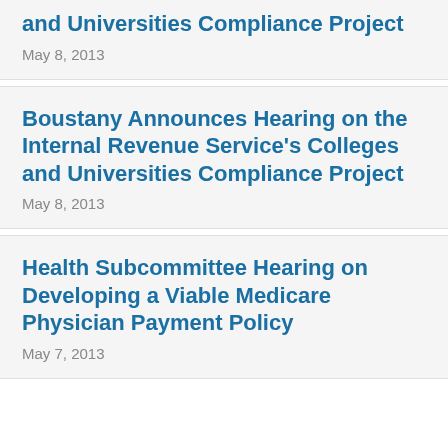and Universities Compliance Project
May 8, 2013
Boustany Announces Hearing on the Internal Revenue Service's Colleges and Universities Compliance Project
May 8, 2013
Health Subcommittee Hearing on Developing a Viable Medicare Physician Payment Policy
May 7, 2013